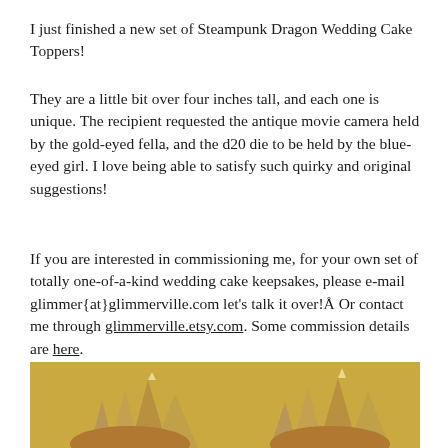I just finished a new set of Steampunk Dragon Wedding Cake Toppers!
They are a little bit over four inches tall, and each one is unique. The recipient requested the antique movie camera held by the gold-eyed fella, and the d20 die to be held by the blue-eyed girl. I love being able to satisfy such quirky and original suggestions!
If you are interested in commissioning me, for your own set of totally one-of-a-kind wedding cake keepsakes, please e-mail glimmer{at}glimmerville.com let's talk it over!Å Or contact me through glimmerville.etsy.com. Some commission details are here.
[Figure (photo): Bottom portion of photo showing steampunk dragon wedding cake toppers on a golden/tan background, with metallic spiky dragon elements visible]